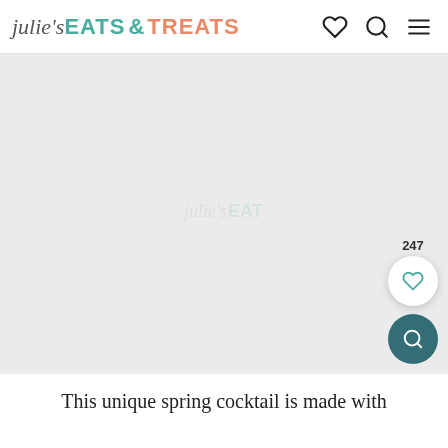julie's EATS & TREATS
[Figure (photo): Large image placeholder area with light gray background, showing a faint watermark or placeholder content. Floating on the right side: a count of 247, a white circular heart button, and a dark teal circular search button.]
This unique spring cocktail is made with